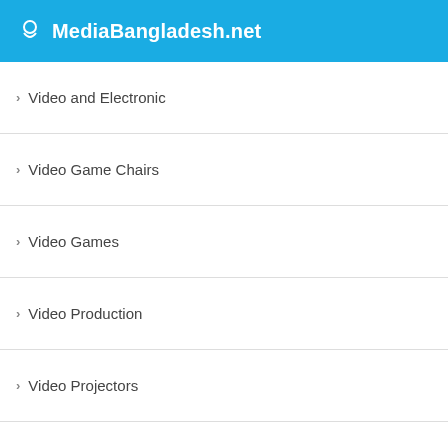MediaBangladesh.net
Video and Electronic
Video Game Chairs
Video Games
Video Production
Video Projectors
Viruses
Visual Arts
VoIP
Wall Lights
Wallets, Card Cases and Money Organizers